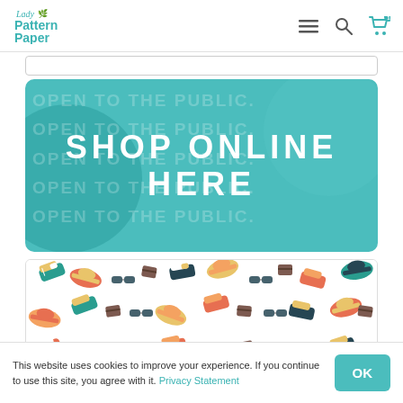[Figure (logo): Lady PatternPaper logo with teal cursive text]
[Figure (screenshot): Navigation icons: hamburger menu, search magnifying glass, shopping cart with badge '1']
[Figure (illustration): Teal banner with 'OPEN TO THE PUBLIC' repeated in background and large white text 'SHOP ONLINE HERE' in center]
[Figure (illustration): Repeating pattern of colorful sneakers, baseball caps, sunglasses, wallets and other accessories on white background]
This website uses cookies to improve your experience. If you continue to use this site, you agree with it. Privacy Statement